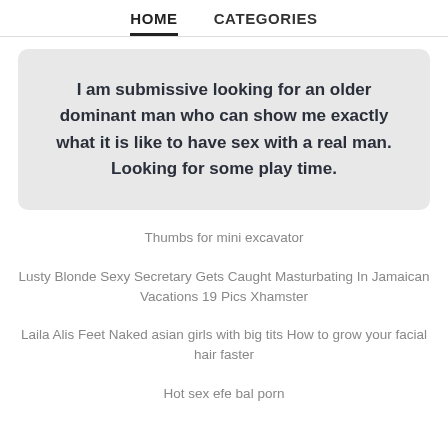HOME   CATEGORIES
I am submissive looking for an older dominant man who can show me exactly what it is like to have sex with a real man. Looking for some play time.
Thumbs for mini excavator
Lusty Blonde Sexy Secretary Gets Caught Masturbating In Jamaican Vacations 19 Pics Xhamster
Laila Alis Feet Naked asian girls with big tits How to grow your facial hair faster
Hot sex efe bal porn